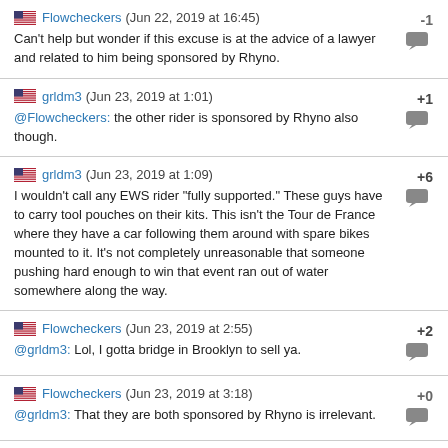Flowcheckers (Jun 22, 2019 at 16:45) -1
Can't help but wonder if this excuse is at the advice of a lawyer and related to him being sponsored by Rhyno.
grldm3 (Jun 23, 2019 at 1:01) +1
@Flowcheckers: the other rider is sponsored by Rhyno also though.
grldm3 (Jun 23, 2019 at 1:09) +6
I wouldn't call any EWS rider "fully supported." These guys have to carry tool pouches on their kits. This isn't the Tour de France where they have a car following them around with spare bikes mounted to it. It's not completely unreasonable that someone pushing hard enough to win that event ran out of water somewhere along the way.
Flowcheckers (Jun 23, 2019 at 2:55) +2
@grldm3: Lol, I gotta bridge in Brooklyn to sell ya.
Flowcheckers (Jun 23, 2019 at 3:18) +0
@grldm3: That they are both sponsored by Rhyno is irrelevant.